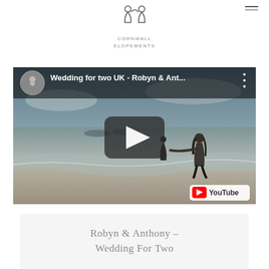[Figure (logo): Cornwall Elopements logo: two outline figures of people with a heart shape, line art style, with text CORNWALL ELOPEMENTS below]
[Figure (screenshot): YouTube video thumbnail showing two people playing in ocean waves on a beach, with video title 'Wedding for two UK - Robyn & Ant...' and YouTube play button overlay]
Robyn & Anthony – Wedding For Two